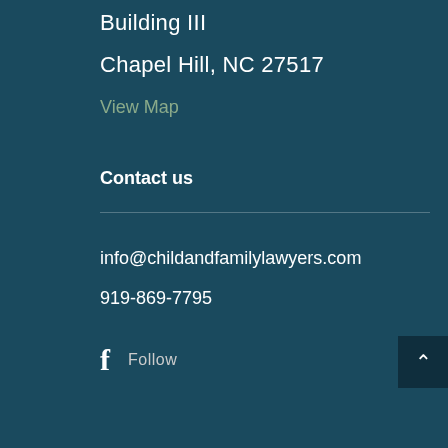Building III
Chapel Hill, NC  27517
View Map
Contact us
info@childandfamilylawyers.com
919-869-7795
f  Follow